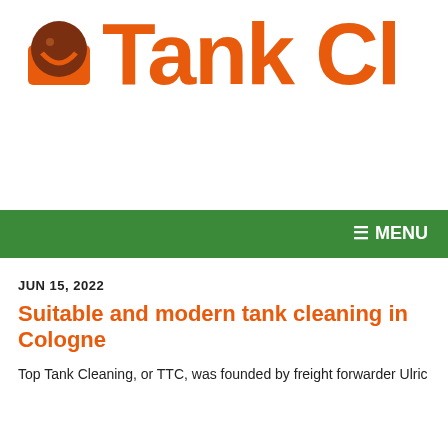[Figure (logo): Tank Cleaning website logo with orange icon and large orange text 'Tank Cle...' (cropped)]
[Figure (logo): TTC Top Tank Cleaning logo with blue and red T boxes, and a German license plate reading 'SAFETY FIRST' with Cologne tag]
≡ MENU
JUN 15, 2022
Suitable and modern tank cleaning in Cologne
Top Tank Cleaning, or TTC, was founded by freight forwarder Ulric